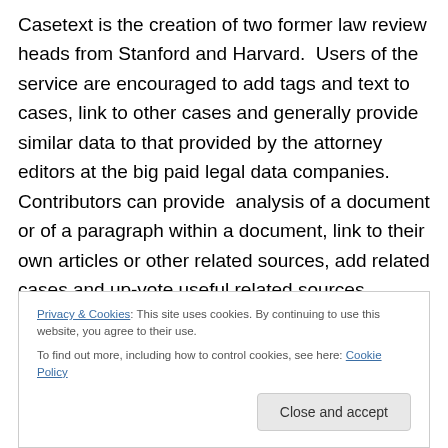Casetext is the creation of two former law review heads from Stanford and Harvard.  Users of the service are encouraged to add tags and text to cases, link to other cases and generally provide similar data to that provided by the attorney editors at the big paid legal data companies. Contributors can provide  analysis of a document or of a paragraph within a document, link to their own articles or other related sources, add related cases and up-vote useful related sources. Contributions are licensed under a Creative Commons Attribution-ShareAlike license, permitting commercial use with proper
Privacy & Cookies: This site uses cookies. By continuing to use this website, you agree to their use.
To find out more, including how to control cookies, see here: Cookie Policy